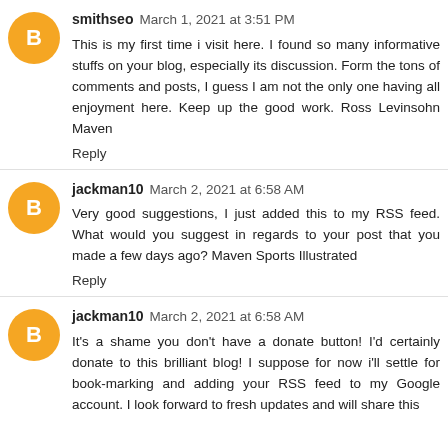smithseo March 1, 2021 at 3:51 PM
This is my first time i visit here. I found so many informative stuffs on your blog, especially its discussion. Form the tons of comments and posts, I guess I am not the only one having all enjoyment here. Keep up the good work. Ross Levinsohn Maven
Reply
jackman10 March 2, 2021 at 6:58 AM
Very good suggestions, I just added this to my RSS feed. What would you suggest in regards to your post that you made a few days ago? Maven Sports Illustrated
Reply
jackman10 March 2, 2021 at 6:58 AM
It's a shame you don't have a donate button! I'd certainly donate to this brilliant blog! I suppose for now i'll settle for book-marking and adding your RSS feed to my Google account. I look forward to fresh updates and will share this